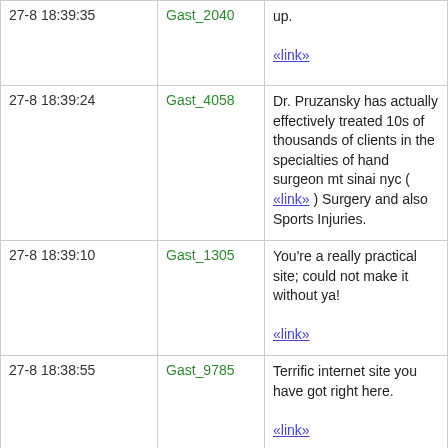| Time | User | Message |
| --- | --- | --- |
| 27-8 18:39:35 | Gast_2040 | up.

«link» |
| 27-8 18:39:24 | Gast_4058 | Dr. Pruzansky has actually effectively treated 10s of thousands of clients in the specialties of hand surgeon mt sinai nyc ( «link» ) Surgery and also Sports Injuries. |
| 27-8 18:39:10 | Gast_1305 | You're a really practical site; could not make it without ya!

«link» |
| 27-8 18:38:55 | Gast_9785 | Terrific internet site you have got right here.

«link» |
| 27-8 18:38:?? | Gast_???? | Howdy! I just wish to give you a huge thumbs up for the excellent info you have got here on this |